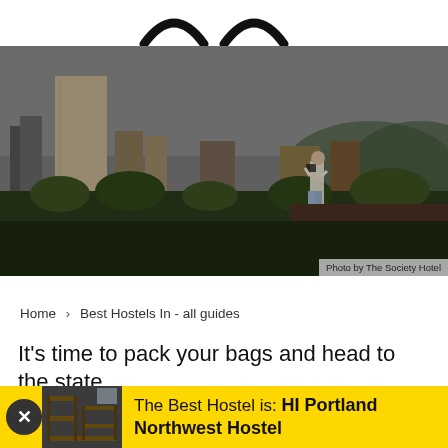[Figure (logo): Partial logo — two curved arcs in black on white background]
[Figure (photo): Person standing on a rooftop garden photographing the Portland city skyline, overcast sky, tall buildings and green hills in the background]
Photo by The Society Hotel
Home > Best Hostels In - all guides
It’s time to pack your bags and head to the state
The Best Hostel is: HI Portland Northwest Hostel